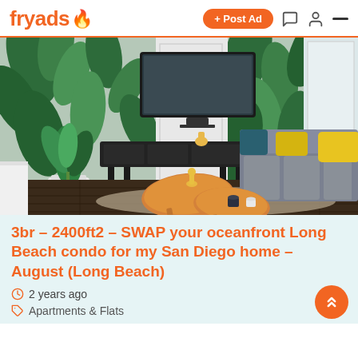fryads 🔥  + Post Ad
[Figure (photo): Interior photo of a modern living room with tropical leaf wallpaper, a wall-mounted TV, a grey sectional sofa with yellow and teal pillows, two organic-shaped wooden coffee tables, a white potted plant, and dark hardwood floors with a woven rug.]
3br – 2400ft2 – SWAP your oceanfront Long Beach condo for my San Diego home – August (Long Beach)
2 years ago
Apartments & Flats